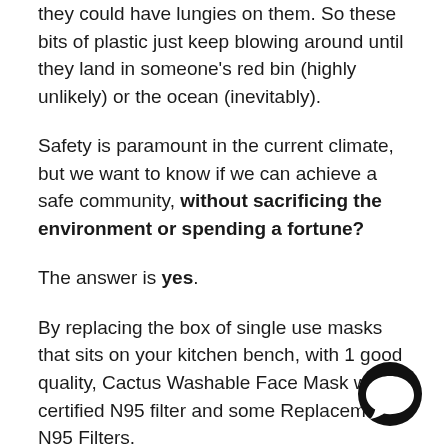they could have lungies on them. So these bits of plastic just keep blowing around until they land in someone's red bin (highly unlikely) or the ocean (inevitably).
Safety is paramount in the current climate, but we want to know if we can achieve a safe community, without sacrificing the environment or spending a fortune?
The answer is yes.
By replacing the box of single use masks that sits on your kitchen bench, with 1 good quality, Cactus Washable Face Mask with a certified N95 filter and some Replacement N95 Filters.
Not only will you be saving some cash, you'll also
[Figure (other): Black circular chat bubble icon in the bottom right corner]